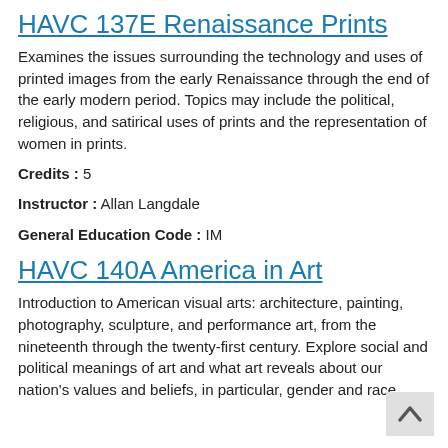HAVC 137E Renaissance Prints
Examines the issues surrounding the technology and uses of printed images from the early Renaissance through the end of the early modern period. Topics may include the political, religious, and satirical uses of prints and the representation of women in prints.
Credits :  5
Instructor :  Allan Langdale
General Education Code :  IM
HAVC 140A America in Art
Introduction to American visual arts: architecture, painting, photography, sculpture, and performance art, from the nineteenth through the twenty-first century. Explore social and political meanings of art and what art reveals about our nation's values and beliefs, in particular, gender and race.